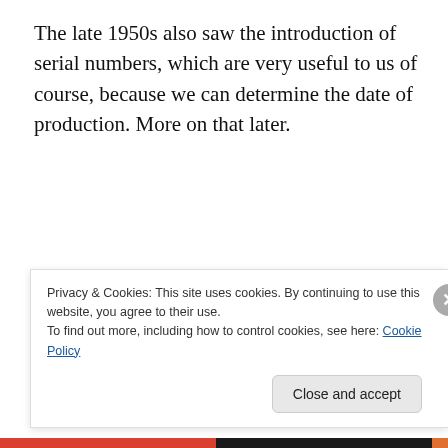The late 1950s also saw the introduction of serial numbers, which are very useful to us of course, because we can determine the date of production. More on that later.
Advertisements
Before covering the three basic designs, a word about the very early models. Little information is stamped on the back – typically it may relate only to the case back
Privacy & Cookies: This site uses cookies. By continuing to use this website, you agree to their use.
To find out more, including how to control cookies, see here: Cookie Policy
Close and accept